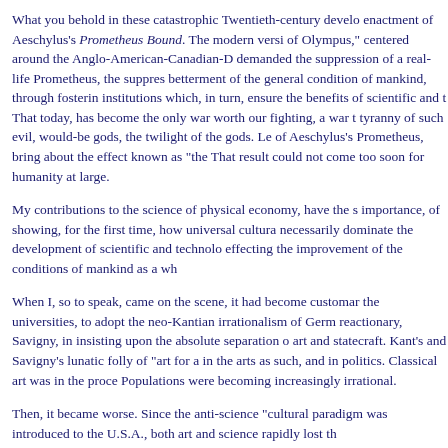What you behold in these catastrophic Twentieth-century develo enactment of Aeschylus's Prometheus Bound. The modern versi of Olympus," centered around the Anglo-American-Canadian-D demanded the suppression of a real-life Prometheus, the suppres betterment of the general condition of mankind, through fosterin institutions which, in turn, ensure the benefits of scientific and t That today, has become the only war worth our fighting, a war t tyranny of such evil, would-be gods, the twilight of the gods. Le of Aeschylus's Prometheus, bring about the effect known as "the That result could not come too soon for humanity at large.
My contributions to the science of physical economy, have the s importance, of showing, for the first time, how universal cultura necessarily dominate the development of scientific and technolo effecting the improvement of the conditions of mankind as a wh
When I, so to speak, came on the scene, it had become customar the universities, to adopt the neo-Kantian irrationalism of Germ reactionary, Savigny, in insisting upon the absolute separation o art and statecraft. Kant's and Savigny's lunatic folly of "art for a in the arts as such, and in politics. Classical art was in the proce Populations were becoming increasingly irrational.
Then, it became worse. Since the anti-science "cultural paradigm was introduced to the U.S.A., both art and science rapidly lost th